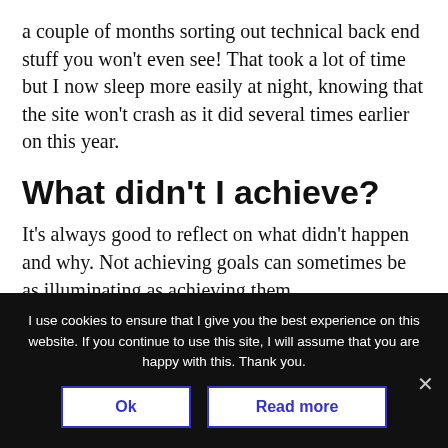a couple of months sorting out technical back end stuff you won't even see! That took a lot of time but I now sleep more easily at night, knowing that the site won't crash as it did several times earlier on this year.
What didn't I achieve?
It's always good to reflect on what didn't happen and why. Not achieving goals can sometimes be as illuminating as achieving them.
I use cookies to ensure that I give you the best experience on this website. If you continue to use this site, I will assume that you are happy with this. Thank you.